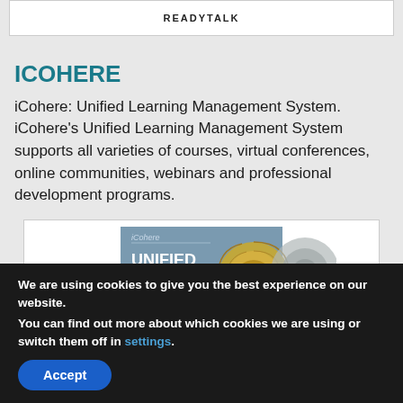[Figure (screenshot): Top portion of a webpage showing READYTALK text in a white bordered box]
ICOHERE
iCohere: Unified Learning Management System. iCohere’s Unified Learning Management System supports all varieties of courses, virtual conferences, online communities, webinars and professional development programs.
[Figure (screenshot): Screenshot of iCohere Unified Learning webpage showing a nautilus shell and text UNIFIED LEARNING]
We are using cookies to give you the best experience on our website.
You can find out more about which cookies we are using or switch them off in settings.
Accept